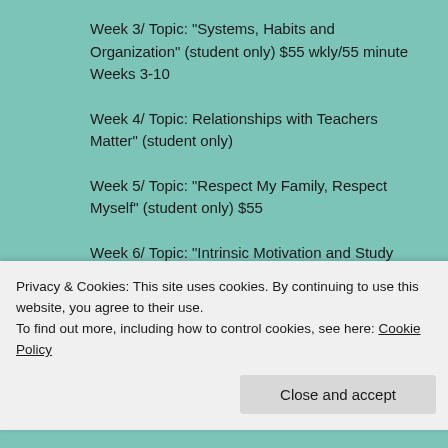Week 3/ Topic: “Systems, Habits and Organization” (student only) $55 wkly/55 minute Weeks 3-10
Week 4/ Topic: Relationships with Teachers Matter” (student only)
Week 5/ Topic: “Respect My Family, Respect Myself” (student only) $55
Week 6/ Topic: “Intrinsic Motivation and Study Skills” (student only) $55
Week 7/ Topic: “Comprehending across Curriculum and learning
Privacy & Cookies: This site uses cookies. By continuing to use this website, you agree to their use.
To find out more, including how to control cookies, see here: Cookie Policy